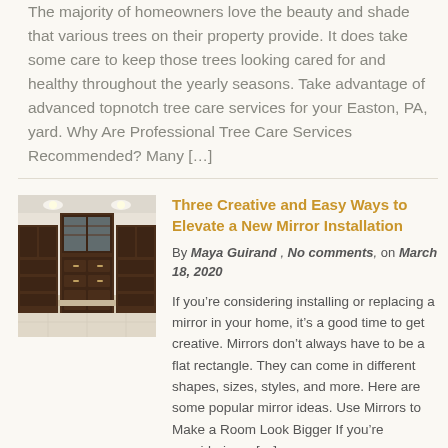The majority of homeowners love the beauty and shade that various trees on their property provide. It does take some care to keep those trees looking cared for and healthy throughout the yearly seasons. Take advantage of advanced topnotch tree care services for your Easton, PA, yard. Why Are Professional Tree Care Services Recommended? Many […]
[Figure (photo): Interior photo of a bathroom/vanity area with dark wood cabinetry, glass-front upper cabinets, recessed lighting, and a light tile floor.]
Three Creative and Easy Ways to Elevate a New Mirror Installation
By Maya Guirand , No comments, on March 18, 2020
If you're considering installing or replacing a mirror in your home, it's a good time to get creative. Mirrors don't always have to be a flat rectangle. They can come in different shapes, sizes, styles, and more. Here are some popular mirror ideas. Use Mirrors to Make a Room Look Bigger If you're considering a […]